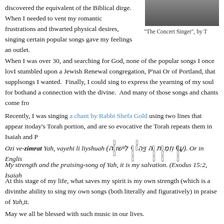discovered the equivalent of the Biblical dirge. When I needed to vent my romantic frustrations and thwarted physical desires, singing certain popular songs gave my feelings an outlet.
[Figure (photo): Partial image of a person, likely a portrait related to The Concert Singer]
“The Concert Singer”, by T
When I was over 30, and searching for God, none of the popular songs I once lov... I stumbled upon a Jewish Renewal congregation, P’nai Or of Portland, that suppl... songs I wanted.  Finally, I could sing to express the yearning of my soul for both and a connection with the divine.  And many of those songs and chants come from
Recently, I was singing a chant by Rabbi Shefa Gold using two lines that appear i... today’s Torah portion, and are so evocative the Torah repeats them in Isaiah and P
Ozi ve-zimrat Yah, vayehi li liyshuah (עָזִּי וְזִמְרָתְיָהִ ויהי־לִי לִישׁוּעָה). Or in Engli
My strength and the praising-song of Yah, it is my salvation. (Exodus 15:2, Isaiah
At this stage of my life, what saves my spirit is my own strength (which is a divin... the ability to sing my own songs (both literally and figuratively) in praise of Yah, it.
May we all be blessed with such music in our lives.